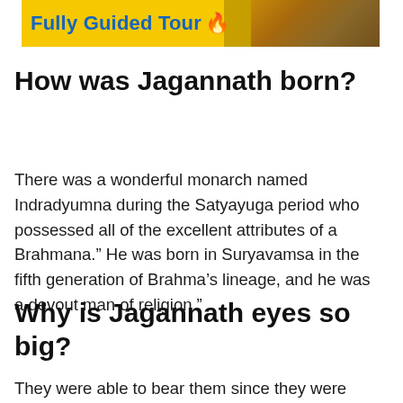[Figure (photo): Banner with yellow background showing 'Fully Guided Tour' text in bold blue with a fire emoji, and a photo of a temple/building on the right side]
How was Jagannath born?
There was a wonderful monarch named Indradyumna during the Satyayuga period who possessed all of the excellent attributes of a Brahmana.” He was born in Suryavamsa in the fifth generation of Brahma’s lineage, and he was a devout man of religion.”
Why is Jagannath eyes so big?
They were able to bear them since they were